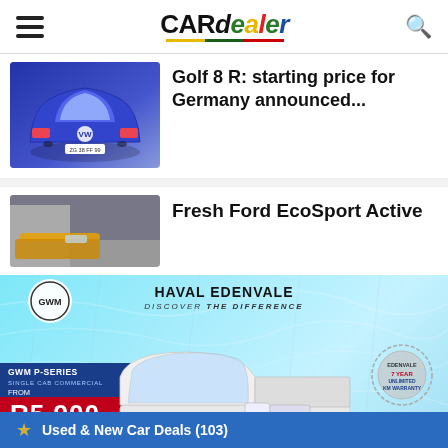CARdealer
Golf 8 R: starting price for Germany announced...
Fresh Ford EcoSport Active
[Figure (photo): GWM advertisement for Haval Edenvale featuring a white GWM P-Series Single Cab Commercial pickup truck on an icy blue background. Text includes: HAVAL EDENVALE, DISCOVER THE DIFFERENCE, GWM P-SERIES SINGLE CAB COMMERCIAL, FROM R5 900 PER MONTH, 7 YEAR UNLIMITED KM WARRANTY, Skip ad in 4, 2021]
Used & New Car Deals (103)